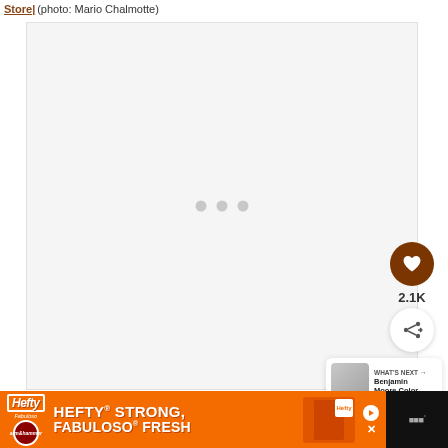Store (photo: Mario Chalmotte)
[Figure (photo): Large light gray image area with three loading dots in the center, indicating an image is loading]
[Figure (infographic): Heart/like button (dark brown circle with heart icon), like count 2.1K, and share button (white circle with share icon)]
2.1K
[Figure (screenshot): What's Next panel with thumbnail and text: Benjamin Moore Color...]
WHAT'S NEXT → Benjamin Moore Color...
[Figure (infographic): Hefty advertisement banner: HEFTY STRONG, FABULOSO FRESH with orange background and product image]